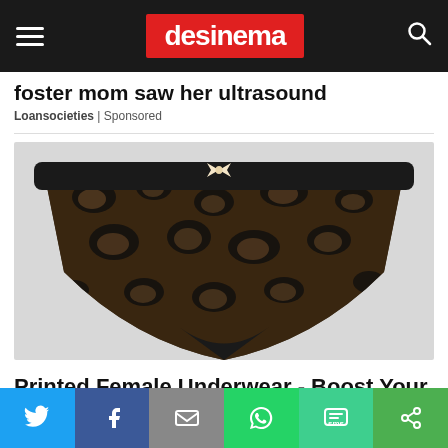desinema
foster mom saw her ultrasound
Loansocieties | Sponsored
[Figure (photo): Black leopard-print lace thong underwear with a small cream bow at the center front waistband, photographed on a light gray background.]
Printed Female Underwear - Boost Your